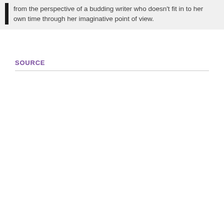from the perspective of a budding writer who doesn't fit in to her own time through her imaginative point of view.
SOURCE